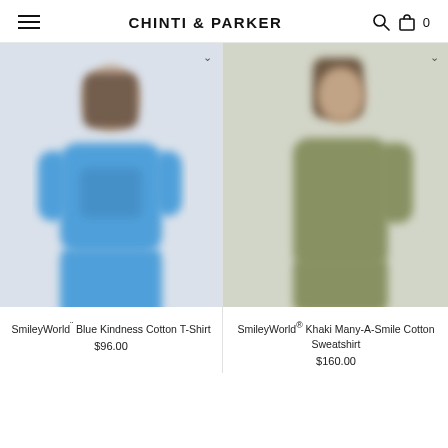CHINTI & PARKER
[Figure (photo): Woman wearing a blue SmileyWorld cotton t-shirt, left product card]
SmileyWorld¨ Blue Kindness Cotton T-Shirt
$96.00
[Figure (photo): Woman wearing a khaki SmileyWorld sweatshirt, right product card]
SmileyWorld® Khaki Many-A-Smile Cotton Sweatshirt
$160.00